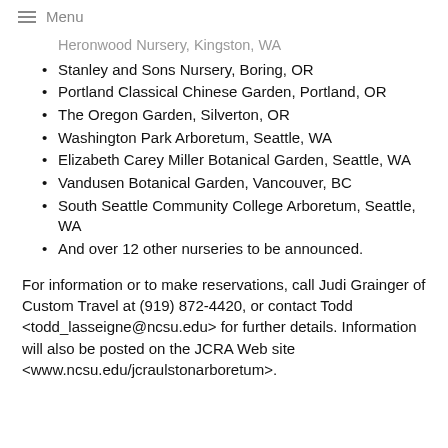Menu
Heronwood Nursery, Kingston, WA (truncated/partial)
Stanley and Sons Nursery, Boring, OR
Portland Classical Chinese Garden, Portland, OR
The Oregon Garden, Silverton, OR
Washington Park Arboretum, Seattle, WA
Elizabeth Carey Miller Botanical Garden, Seattle, WA
Vandusen Botanical Garden, Vancouver, BC
South Seattle Community College Arboretum, Seattle, WA
And over 12 other nurseries to be announced.
For information or to make reservations, call Judi Grainger of Custom Travel at (919) 872-4420, or contact Todd <todd_lasseigne@ncsu.edu> for further details. Information will also be posted on the JCRA Web site <www.ncsu.edu/jcraulstonarboretum>.